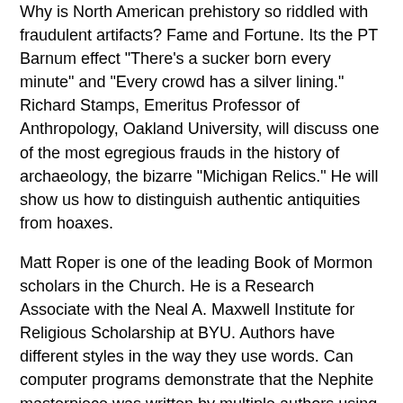Why is North American prehistory so riddled with fraudulent artifacts? Fame and Fortune. Its the PT Barnum effect "There's a sucker born every minute" and "Every crowd has a silver lining." Richard Stamps, Emeritus Professor of Anthropology, Oakland University, will discuss one of the most egregious frauds in the history of archaeology, the bizarre "Michigan Relics." He will show us how to distinguish authentic antiquities from hoaxes.
Matt Roper is one of the leading Book of Mormon scholars in the Church. He is a Research Associate with the Neal A. Maxwell Institute for Religious Scholarship at BYU. Authors have different styles in the way they use words. Can computer programs demonstrate that the Nephite masterpiece was written by multiple authors using different writing styles? Roper will discuss the current state-of-the-art in stylometry aka wordprints.
The world of Book of Mormon Studies changed forever on the morning of Wednesday, August 16, 1967 when Jack Welch found Chiasmus in Mosiah 5:10-12 while on his mission in Regensburg, Germany. 2017 is the 50th anniversary of that momentous discovery. Jack and Jeannie